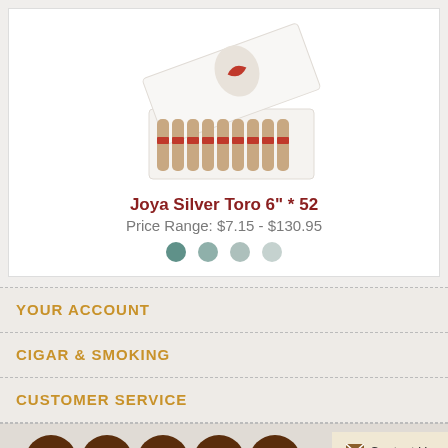[Figure (photo): Open box of Joya Silver Toro cigars, white box with red heart logo]
Joya Silver Toro 6" * 52
Price Range: $7.15 - $130.95
YOUR ACCOUNT
CIGAR & SMOKING
CUSTOMER SERVICE
[Figure (illustration): Social media icons: Facebook, Instagram, YouTube, Twitter, Pinterest]
Contact Us